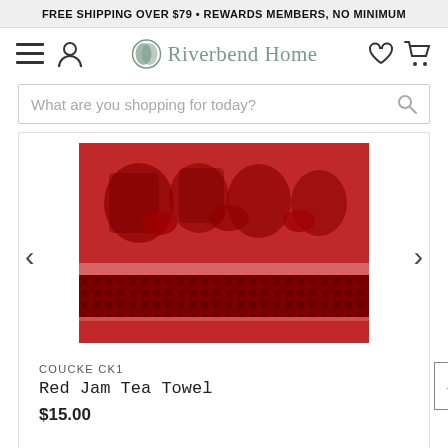FREE SHIPPING OVER $79 • REWARDS MEMBERS, NO MINIMUM
[Figure (logo): Riverbend Home logo with navigation icons (hamburger menu, user, heart, cart)]
What are you shopping for today?
[Figure (photo): Red Jam Tea Towel product image showing a red cotton towel with dark fruit/jam jar pattern]
COUCKE CK1
Red Jam Tea Towel
$15.00